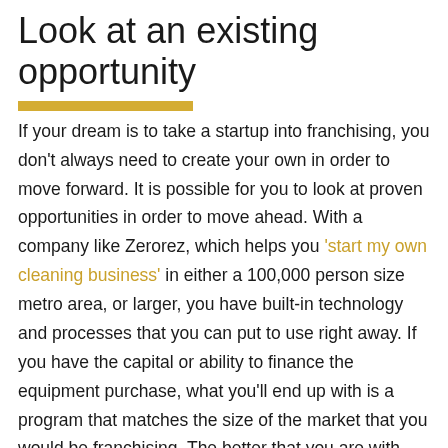Look at an existing opportunity
If your dream is to take a startup into franchising, you don't always need to create your own in order to move forward. It is possible for you to look at proven opportunities in order to move ahead. With a company like Zerorez, which helps you 'start my own cleaning business' in either a 100,000 person size metro area, or larger, you have built-in technology and processes that you can put to use right away. If you have the capital or ability to finance the equipment purchase, what you'll end up with is a program that matches the size of the market that you would be franchising. The better that you are with customers,